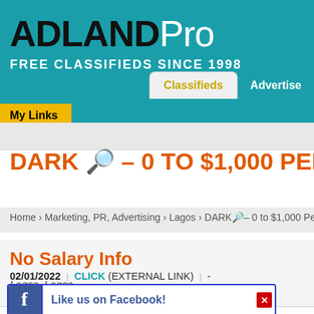ADLANDPro FREE CLASSIFIEDS SINCE 1998
DARK ð – 0 TO $1,000 PER MONTH
Home › Marketing, PR, Advertising › Lagos › DARKð – 0 to $1,000 Per M
No Salary Info
Lagos, Lagos
02/01/2022 | CLICK (EXTERNAL LINK) | -
[Figure (screenshot): Facebook Like us on Facebook bar with blue border and close button]